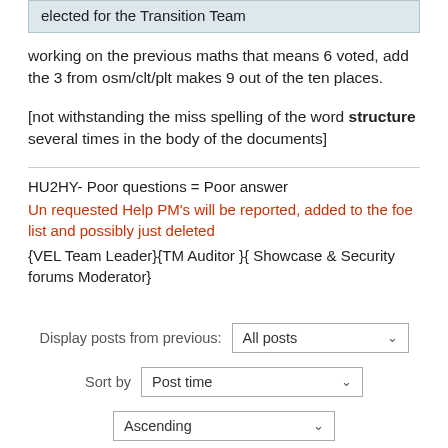elected for the Transition Team
working on the previous maths that means 6 voted, add the 3 from osm/clt/plt makes 9 out of the ten places.
[not withstanding the miss spelling of the word structure several times in the body of the documents]
HU2HY- Poor questions = Poor answer
Un requested Help PM's will be reported, added to the foe list and possibly just deleted
{VEL Team Leader}{TM Auditor }{ Showcase & Security forums Moderator}
Display posts from previous: All posts
Sort by: Post time
Ascending